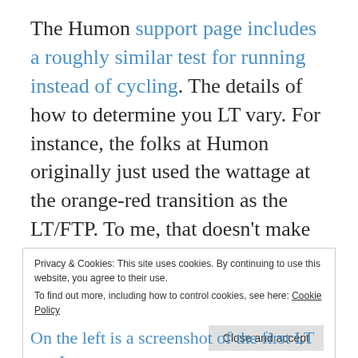The Humon support page includes a roughly similar test for running instead of cycling. The details of how to determine you LT vary. For instance, the folks at Humon originally just used the wattage at the orange-red transition as the LT/FTP. To me, that doesn't make much sense because there's a big difference between hitting the lap button as soon as you increase by 30 watts and hitting it after riding steadily at the higher effort for 3-4 minutes. Also, the folks
Privacy & Cookies: This site uses cookies. By continuing to use this website, you agree to their use.
To find out more, including how to control cookies, see here: Cookie Policy
On the left is a screenshot of the first LT test I